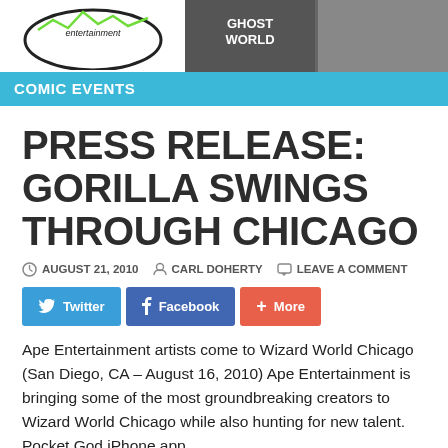[Figure (illustration): Website header with Ape Entertainment logo on left and comic book covers (Ghost World, etc.) on right]
COMIC EVENTS
PRESS RELEASE: GORILLA SWINGS THROUGH CHICAGO
AUGUST 21, 2010   CARL DOHERTY   LEAVE A COMMENT
[Figure (screenshot): Social sharing buttons: Twitter, Facebook, More]
Ape Entertainment artists come to Wizard World Chicago (San Diego, CA – August 16, 2010) Ape Entertainment is bringing some of the most groundbreaking creators to Wizard World Chicago while also hunting for new talent.  Pocket God iPhone app